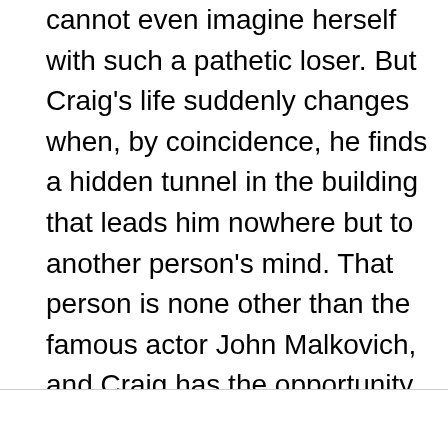cannot even imagine herself with such a pathetic loser. But Craig's life suddenly changes when, by coincidence, he finds a hidden tunnel in the building that leads him nowhere but to another person's mind. That person is none other than the famous actor John Malkovich, and Craig has the opportunity to hear everything Malkovich hears, see everything Malkovich sees, and feel everything Malkovich feels.